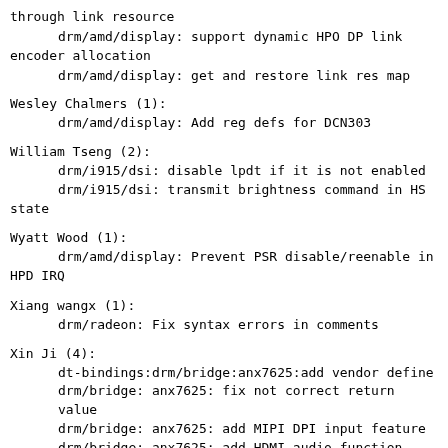through link resource
        drm/amd/display: support dynamic HPO DP link encoder allocation
        drm/amd/display: get and restore link res map
Wesley Chalmers (1):
        drm/amd/display: Add reg defs for DCN303
William Tseng (2):
        drm/i915/dsi: disable lpdt if it is not enabled
        drm/i915/dsi: transmit brightness command in HS state
Wyatt Wood (1):
        drm/amd/display: Prevent PSR disable/reenable in HPD IRQ
Xiang wangx (1):
        drm/radeon: Fix syntax errors in comments
Xin Ji (4):
        dt-bindings:drm/bridge:anx7625:add vendor define
        drm/bridge: anx7625: fix not correct return value
        drm/bridge: anx7625: add MIPI DPI input feature
        drm/bridge: anx7625: add HDMI audio function
Xu Wang (1):
        drm/radeon: correct indentation
Xu, Jinze (1):